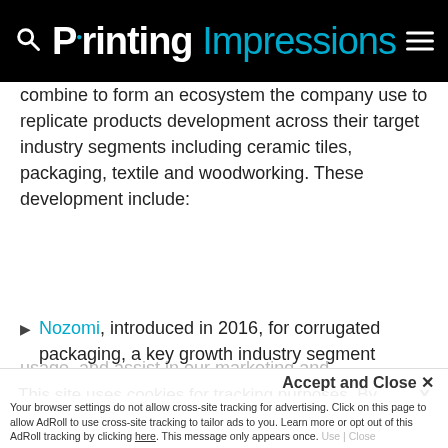Printing Impressions
combine to form an ecosystem the company use to replicate products development across their target industry segments including ceramic tiles, packaging, textile and woodworking. These development include:
Nozomi, introduced in 2016, for corrugated packaging, a key growth industry segment
This site uses cookies for tracking purposes. By continuing to browse our website, you agree to the storing of first- and third-party cookies on your device to enhance site navigation, analyze site
usage, and assist in our marketing and
Accept and Close ✕
Your browser settings do not allow cross-site tracking for advertising. Click on this page to allow AdRoll to use cross-site tracking to tailor ads to you. Learn more or opt out of this AdRoll tracking by clicking here. This message only appears once.